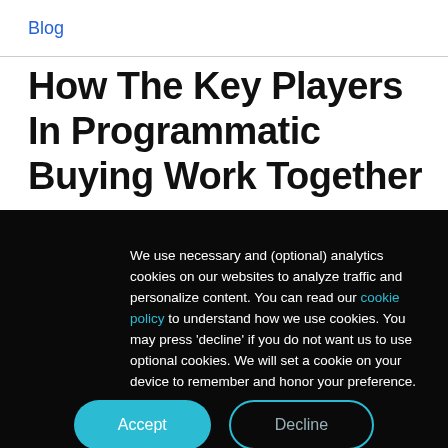Blog
How The Key Players In Programmatic Buying Work Together
We use necessary and (optional) analytics cookies on our websites to analyze traffic and personalize content. You can read our cookie policy to understand how we use cookies. You may press 'decline' if you do not want us to use optional cookies. We will set a cookie on your device to remember and honor your preference.